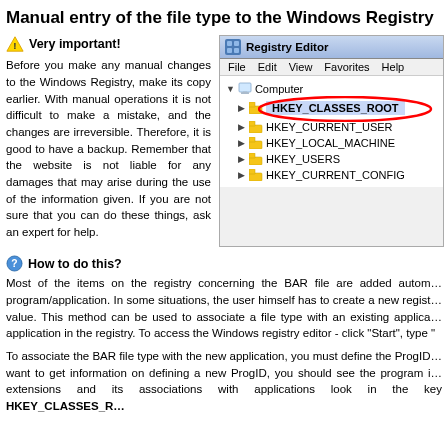Manual entry of the file type to the Windows Registry
Very important!
Before you make any manual changes to the Windows Registry, make its copy earlier. With manual operations it is not difficult to make a mistake, and the changes are irreversible. Therefore, it is good to have a backup. Remember that the website is not liable for any damages that may arise during the use of the information given. If you are not sure that you can do these things, ask an expert for help.
[Figure (screenshot): Screenshot of Windows Registry Editor showing HKEY_CLASSES_ROOT highlighted with a red oval, along with HKEY_CURRENT_USER, HKEY_LOCAL_MACHINE, HKEY_USERS, HKEY_CURRENT_CONFIG keys listed under Computer.]
How to do this?
Most of the items on the registry concerning the BAR file are added automatically when you install a program/application. In some situations, the user himself has to create a new registry entry and then add a value. This method can be used to associate a file type with an existing application or to add a new application in the registry. To access the Windows registry editor - click "Start", type "
To associate the BAR file type with the new application, you must define the ProgID for this file type. If you want to get information on defining a new ProgID, you should see the program in the registry. The list of extensions and its associations with applications look in the key HKEY_CLASSES_R